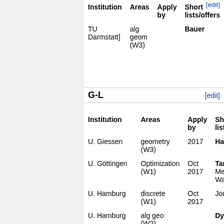| Institution | Areas | Apply by | Short lists/offers |
| --- | --- | --- | --- |
| TU Darmstatt] | alg geom (W3) |  | Bauer |
G-L
| Institution | Areas | Apply by | Short lists/offers |
| --- | --- | --- | --- |
| U. Giessen | geometry (W3) | 2017 | Hart |
| U. Göttingen | Optimization (W1) | Oct 2017 | Tam Merl Wala |
| U. Hamburg | discrete (W1) | Oct 2017 | Joos |
| U. Hamburg | alg geo (W2) |  | Dyc |
| TU Kaiserslautern | appl. math (W3) | Sep 30, 2017 | Sch |
| CU Kiel | stochastics | 2017 | Söre |